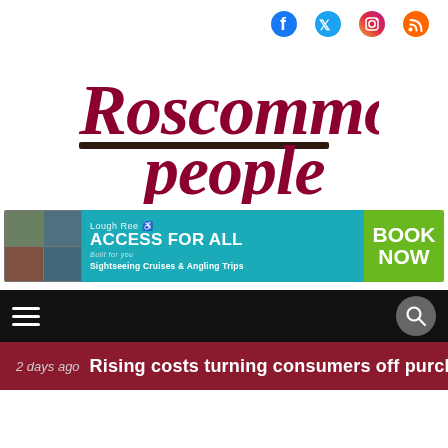[Figure (logo): Social media icons: Facebook, Twitter, Instagram, RSS feed]
[Figure (logo): Roscommon People newspaper logo in dark red italic bold text with horizontal bar underline]
[Figure (other): Lough Ree Access For All advertisement banner - Sightseeing Cruises & Angling Trips - Book Now]
[Figure (screenshot): Navigation bar with hamburger menu icon and search icon on black background]
2 days ago  Rising costs turning consumers off purch